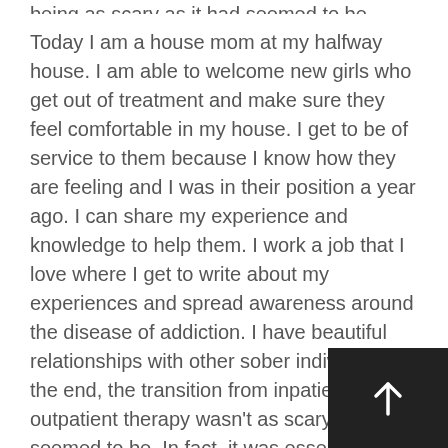being as scary as it had seemed to be.
Today I am a house mom at my halfway house. I am able to welcome new girls who get out of treatment and make sure they feel comfortable in my house. I get to be of service to them because I know how they are feeling and I was in their position a year ago. I can share my experience and knowledge to help them. I work a job that I love where I get to write about my experiences and spread awareness around the disease of addiction. I have beautiful relationships with other sober individuals. In the end, the transition from inpatient to outpatient therapy wasn't as scary as it had seemed to be. In fact, it was essential to maintaining sobriety and becoming the woman I am today.